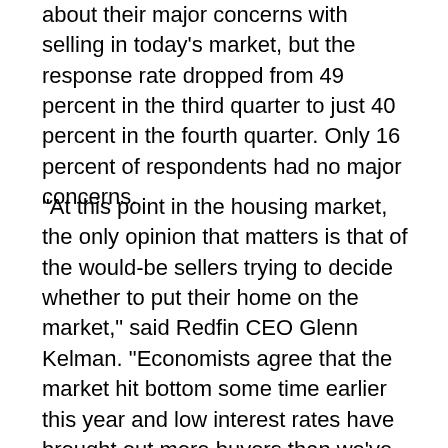about their major concerns with selling in today's market, but the response rate dropped from 49 percent in the third quarter to just 40 percent in the fourth quarter. Only 16 percent of respondents had no major concerns.
“At this point in the housing market, the only opinion that matters is that of the would-be sellers trying to decide whether to put their home on the market,” said Redfin CEO Glenn Kelman. “Economists agree that the market hit bottom some time earlier this year and low interest rates have brought out more buyers than we’ve seen in years, but most sellers decided to wait for better prices. These attitudes aren’t changing dramatically from one quarter to the next, but the direction has been remarkably consistent among both buyers and sellers: the market is slowly tilting